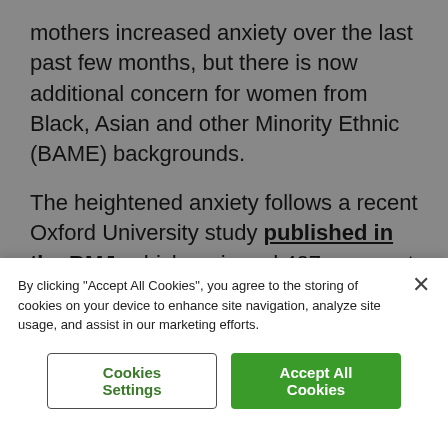mothers increased anxiety over the last past few months, but there is now additional concern for women from Black, Asian and other Minority Ethnic (BAME) backgrounds.
The heightened anxiety follows a recent Oxford University study published in the BMJ, which reviewed 427 pregnant women admitted with COVID-19 infection, between March – April, when the virus was spreading fast in the UK.
The study found that over 50 per cent of the
By clicking "Accept All Cookies", you agree to the storing of cookies on your device to enhance site navigation, analyze site usage, and assist in our marketing efforts.